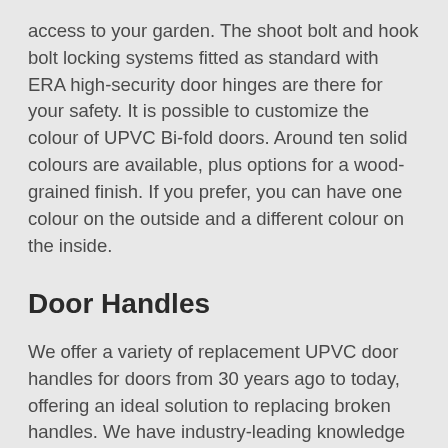access to your garden. The shoot bolt and hook bolt locking systems fitted as standard with ERA high-security door hinges are there for your safety. It is possible to customize the colour of UPVC Bi-fold doors. Around ten solid colours are available, plus options for a wood-grained finish. If you prefer, you can have one colour on the outside and a different colour on the inside.
Door Handles
We offer a variety of replacement UPVC door handles for doors from 30 years ago to today, offering an ideal solution to replacing broken handles. We have industry-leading knowledge when it comes to UPVC door handles, helping our